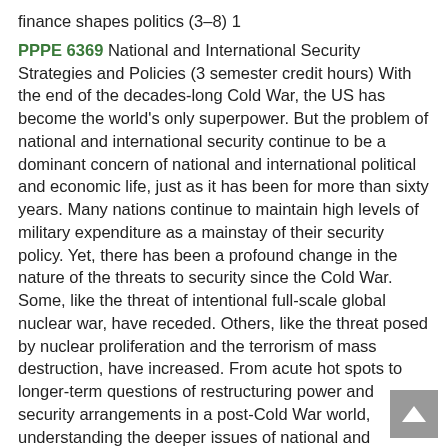finance shapes politics (3–8) 1
PPPE 6369 National and International Security Strategies and Policies (3 semester credit hours) With the end of the decades-long Cold War, the US has become the world's only superpower. But the problem of national and international security continue to be a dominant concern of national and international political and economic life, just as it has been for more than sixty years. Many nations continue to maintain high levels of military expenditure as a mainstay of their security policy. Yet, there has been a profound change in the nature of the threats to security since the Cold War. Some, like the threat of intentional full-scale global nuclear war, have receded. Others, like the threat posed by nuclear proliferation and the terrorism of mass destruction, have increased. From acute hot spots to longer-term questions of restructuring power and security arrangements in a post-Cold War world, understanding the deeper issues of national and international security is critical to understanding what lies behind the headlines -- and what strategies are likely to be effective in achieving real security. Topics include: the